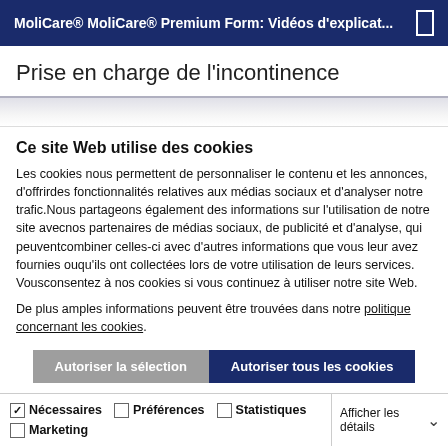MoliCare® MoliCare® Premium Form: Vidéos d'explicat...
Prise en charge de l'incontinence
Ce site Web utilise des cookies
Les cookies nous permettent de personnaliser le contenu et les annonces, d'offrirdes fonctionnalités relatives aux médias sociaux et d'analyser notre trafic.Nous partageons également des informations sur l'utilisation de notre site avecnos partenaires de médias sociaux, de publicité et d'analyse, qui peuventcombiner celles-ci avec d'autres informations que vous leur avez fournies ouqu'ils ont collectées lors de votre utilisation de leurs services. Vousconsentez à nos cookies si vous continuez à utiliser notre site Web.
De plus amples informations peuvent être trouvées dans notre politique concernant les cookies.
Autoriser la sélection | Autoriser tous les cookies
Nécessaires  Préférences  Statistiques  Marketing  Afficher les détails